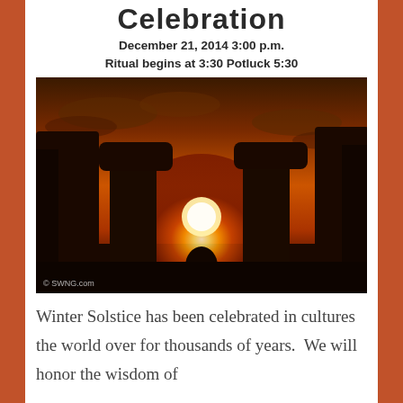Celebration
December 21, 2014  3:00 p.m.
Ritual begins at 3:30  Potluck 5:30
[Figure (photo): Stonehenge silhouette at sunset with sun visible between the stones, orange and dark sky. Watermark: © SWNG.com]
Winter Solstice has been celebrated in cultures the world over for thousands of years.  We will honor the wisdom of